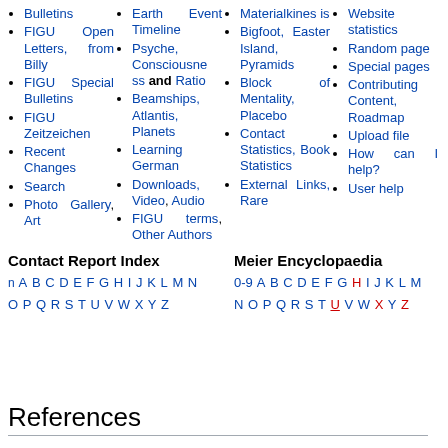Bulletins
FIGU Open Letters, from Billy
FIGU Special Bulletins
FIGU Zeitzeichen
Recent Changes
Search
Photo Gallery, Art
Earth Event Timeline
Psyche, Consciousness and Ratio
Beamships, Atlantis, Planets
Learning German
Downloads, Video, Audio
FIGU terms, Other Authors
Materialkines is
Bigfoot, Easter Island, Pyramids
Block of Mentality, Placebo
Contact Statistics, Book Statistics
External Links, Rare
Website statistics
Random page
Special pages
Contributing Content, Roadmap
Upload file
How can I help?
User help
Contact Report Index
n A B C D E F G H I J K L M N O P Q R S T U V W X Y Z
Meier Encyclopaedia
0-9 A B C D E F G H I J K L M N O P Q R S T U V W X Y Z
References